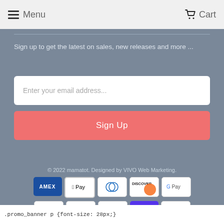Menu   Cart
Sign up to get the latest on sales, new releases and more ...
Enter your email address...
Sign Up
© 2022 mamatot. Designed by VIVO Web Marketing.
[Figure (other): Payment method icons: AMEX, Apple Pay, Diners Club, Discover, Google Pay (top row); Interac, Mastercard, PayPal, Shop Pay, Visa (bottom row)]
.promo_banner p {font-size: 28px;}